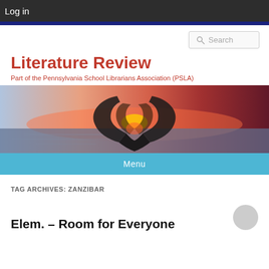Log in
[Figure (screenshot): Search box with magnifying glass icon and placeholder text 'Search']
Literature Review
Part of the Pennsylvania School Librarians Association (PSLA)
[Figure (photo): Decorative header photo showing a book folded into a heart shape against a sunset sky background with orange, red, and purple tones over water]
Menu
TAG ARCHIVES: ZANZIBAR
Elem. – Room for Everyone